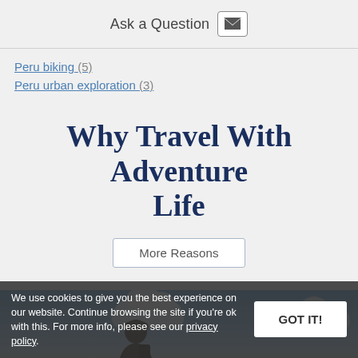Ask a Question
Peru biking (5)
Peru urban exploration (3)
Why Travel With Adventure Life
More Reasons
[Figure (photo): Person silhouetted against a blue sky with white clouds]
We use cookies to give you the best experience on our website. Continue browsing the site if you're ok with this. For more info, please see our privacy policy.